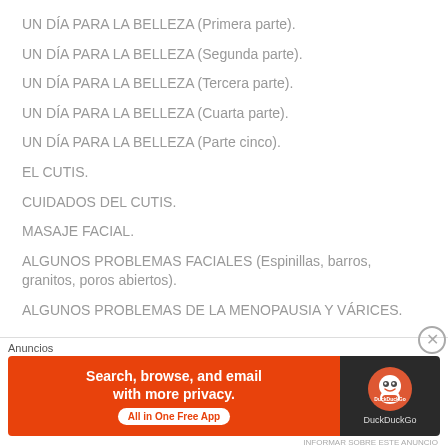UN DÍA PARA LA BELLEZA (Primera parte).
UN DÍA PARA LA BELLEZA (Segunda parte).
UN DÍA PARA LA BELLEZA (Tercera parte).
UN DÍA PARA LA BELLEZA (Cuarta parte).
UN DÍA PARA LA BELLEZA (Parte cinco).
EL CUTIS.
CUIDADOS DEL CUTIS.
MASAJE FACIAL.
ALGUNOS PROBLEMAS FACIALES (Espinillas, barros, granitos, poros abiertos).
ALGUNOS PROBLEMAS DE LA MENOPAUSIA Y VÁRICES.
[Figure (screenshot): DuckDuckGo advertisement banner with orange and dark background sections]